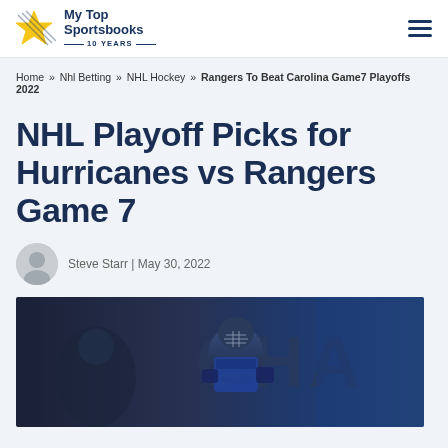My Top Sportsbooks 10 YEARS
Home » Nhl Betting » NHL Hockey » Rangers To Beat Carolina Game7 Playoffs 2022
NHL Playoff Picks for Hurricanes vs Rangers Game 7
Steve Starr | May 30, 2022
[Figure (photo): Hockey goalie in blue Rangers uniform in front of a dark arena background with partial text 'CHA' visible]